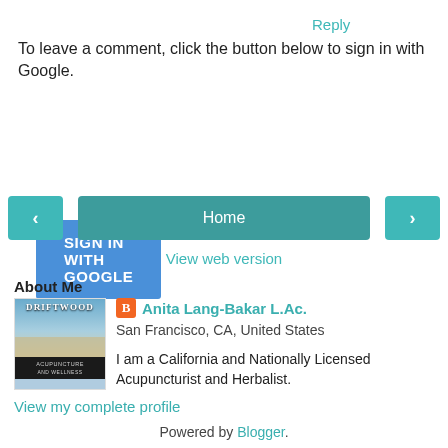Reply
To leave a comment, click the button below to sign in with Google.
[Figure (other): Blue 'SIGN IN WITH GOOGLE' button]
[Figure (other): Navigation bar with left arrow, Home button, right arrow]
View web version
About Me
[Figure (photo): Driftwood Acupuncture and Wellness book/profile image]
Anita Lang-Bakar L.Ac.
San Francisco, CA, United States
I am a California and Nationally Licensed Acupuncturist and Herbalist.
View my complete profile
Powered by Blogger.